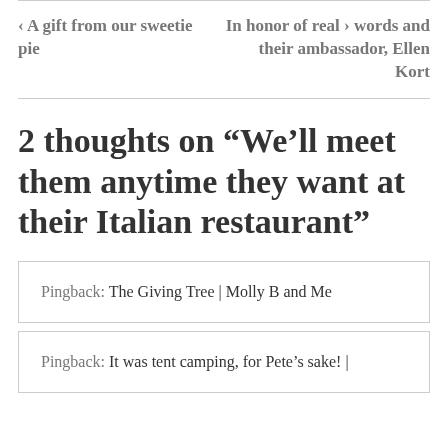‹ A gift from our sweetie pie
In honor of real › words and their ambassador, Ellen Kort
2 thoughts on “We’ll meet them anytime they want at their Italian restaurant”
Pingback: The Giving Tree | Molly B and Me
Pingback: It was tent camping, for Pete’s sake! |